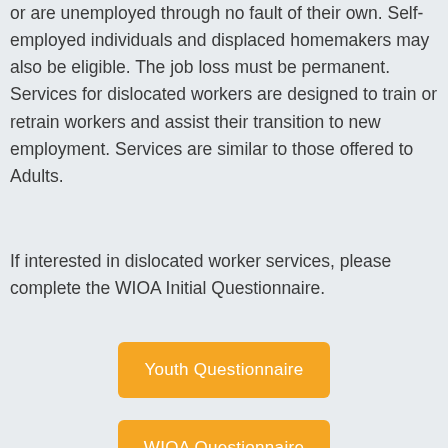or are unemployed through no fault of their own. Self-employed individuals and displaced homemakers may also be eligible. The job loss must be permanent. Services for dislocated workers are designed to train or retrain workers and assist their transition to new employment. Services are similar to those offered to Adults.
If interested in dislocated worker services, please complete the WIOA Initial Questionnaire.
[Figure (other): Orange button labeled 'Youth Questionnaire']
[Figure (other): Orange button labeled 'WIOA Questionnaire']